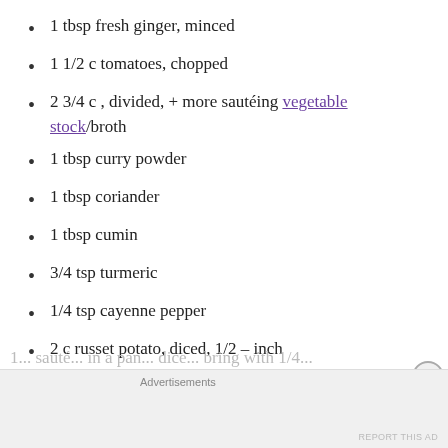1 tbsp fresh ginger, minced
1 1/2 c tomatoes, chopped
2 3/4 c , divided, + more sautéing vegetable stock/broth
1 tbsp curry powder
1 tbsp coriander
1 tbsp cumin
3/4 tsp turmeric
1/4 tsp cayenne pepper
2 c russet potato, diced, 1/2 – inch
1 c chickpeas (measured dried then soaked overnight)
1 tbsp lemon juice
Advertisements